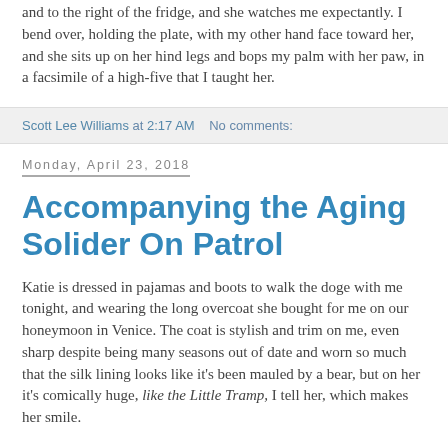and to the right of the fridge, and she watches me expectantly. I bend over, holding the plate, with my other hand face toward her, and she sits up on her hind legs and bops my palm with her paw, in a facsimile of a high-five that I taught her.
Scott Lee Williams at 2:17 AM   No comments:
Monday, April 23, 2018
Accompanying the Aging Solider On Patrol
Katie is dressed in pajamas and boots to walk the doge with me tonight, and wearing the long overcoat she bought for me on our honeymoon in Venice. The coat is stylish and trim on me, even sharp despite being many seasons out of date and worn so much that the silk lining looks like it's been mauled by a bear, but on her it's comically huge, like the Little Tramp, I tell her, which makes her smile.